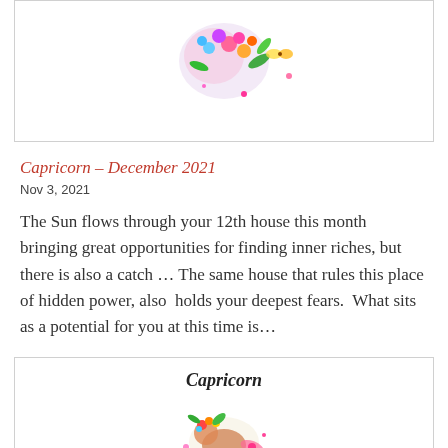[Figure (illustration): Floral and butterfly decorative illustration at top of page]
Capricorn – December 2021
Nov 3, 2021
The Sun flows through your 12th house this month bringing great opportunities for finding inner riches, but there is also a catch … The same house that rules this place of hidden power, also  holds your deepest fears.  What sits as a potential for you at this time is…
[Figure (illustration): Capricorn zodiac floral illustration with label 'Capricorn']